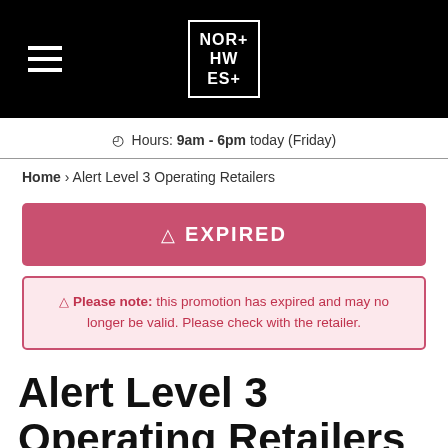NOR+HWE S+ (Northwest+ logo)
Hours: 9am - 6pm today (Friday)
Home › Alert Level 3 Operating Retailers
⚠ EXPIRED
⚠ Please note: this promotion has expired and may no longer be valid. Please check with the retailer.
Alert Level 3 Operating Retailers